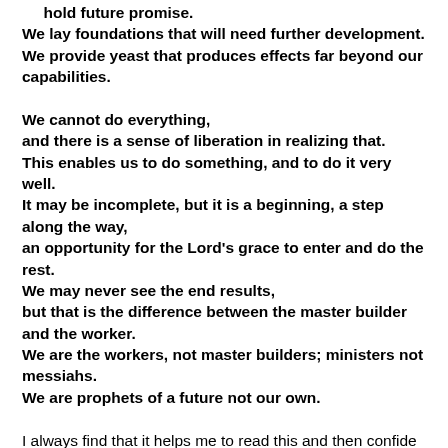hold future promise.
We lay foundations that will need further development.
We provide yeast that produces effects far beyond our capabilities.

We cannot do everything,
and there is a sense of liberation in realizing that.
This enables us to do something, and to do it very well.
It may be incomplete, but it is a beginning, a step along the way,
an opportunity for the Lord's grace to enter and do the rest.
We may never see the end results,
but that is the difference between the master builder and the worker.
We are the workers, not master builders; ministers not messiahs.
We are prophets of a future not our own.

I always find that it helps me to read this and then confide all to the Heart of Jesus! I am also praying much to the Holy Spirit these days. My youngest grand nephew, Michael, is